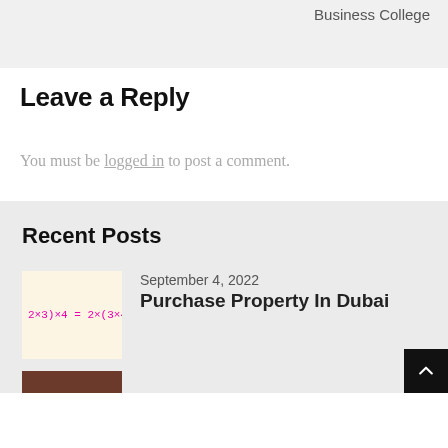Business College
Leave a Reply
You must be logged in to post a comment.
Recent Posts
September 4, 2022
Purchase Property In Dubai
[Figure (screenshot): Thumbnail image showing a math equation: (2×3)×4 = 2×(3×4 in pink/magenta text on a light yellow/cream background]